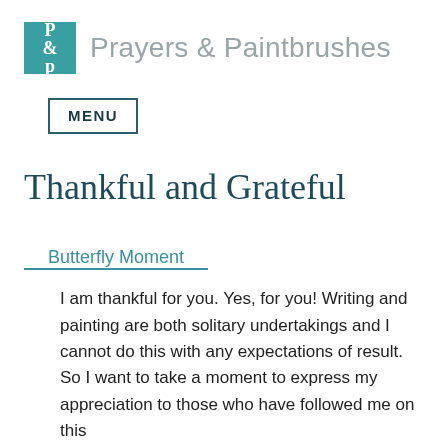Prayers & Paintbrushes
MENU
Thankful and Grateful
Butterfly Moment
I am thankful for you. Yes, for you! Writing and painting are both solitary undertakings and I cannot do this with any expectations of result. So I want to take a moment to express my appreciation to those who have followed me on this